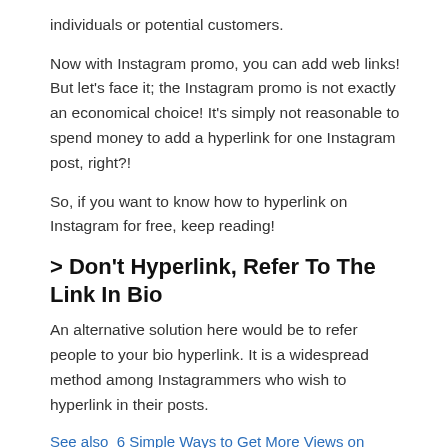individuals or potential customers.
Now with Instagram promo, you can add web links! But let's face it; the Instagram promo is not exactly an economical choice! It's simply not reasonable to spend money to add a hyperlink for one Instagram post, right?!
So, if you want to know how to hyperlink on Instagram for free, keep reading!
> Don't Hyperlink, Refer To The Link In Bio
An alternative solution here would be to refer people to your bio hyperlink. It is a widespread method among Instagrammers who wish to hyperlink in their posts.
See also  6 Simple Ways to Get More Views on Instagram Videos
So, you simply place your hyperlink in your Instagram bio and write do...